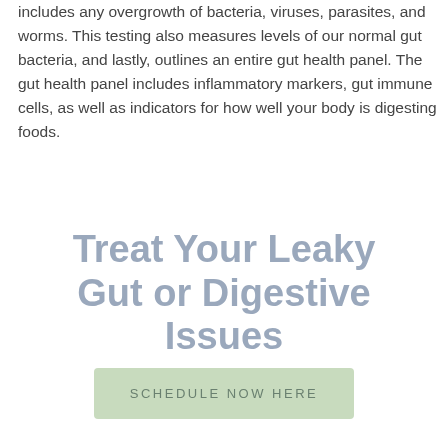includes any overgrowth of bacteria, viruses, parasites, and worms. This testing also measures levels of our normal gut bacteria, and lastly, outlines an entire gut health panel. The gut health panel includes inflammatory markers, gut immune cells, as well as indicators for how well your body is digesting foods.
Treat Your Leaky Gut or Digestive Issues
SCHEDULE NOW HERE